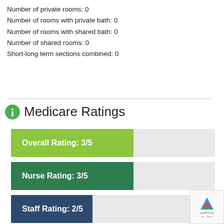Number of private rooms: 0
Number of rooms with private bath: 0
Number of rooms with shared bath: 0
Number of shared rooms: 0
Short-long term sections combined: 0
Medicare Ratings
[Figure (bar-chart): Medicare Ratings]